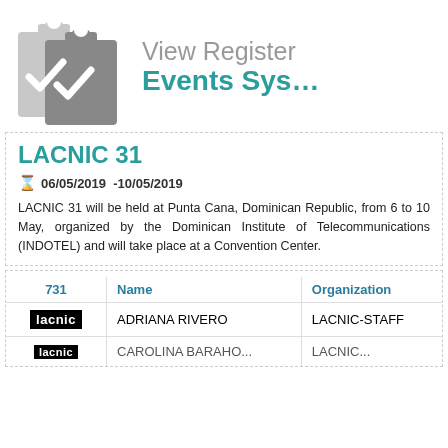[Figure (logo): Clipboard with checkmarks icon (two overlapping clipboards with check marks, light gray and dark gray)]
View Register Events System
LACNIC 31
06/05/2019 -10/05/2019
LACNIC 31 will be held at Punta Cana, Dominican Republic, from 6 to 10 May, organized by the Dominican Institute of Telecommunications (INDOTEL) and will take place at a Convention Center.
| 731 | Name | Organization |
| --- | --- | --- |
| lacnic | ADRIANA RIVERO | LACNIC-STAFF |
| lacnic | CAROLINA BARAHO... | LACNIC... |